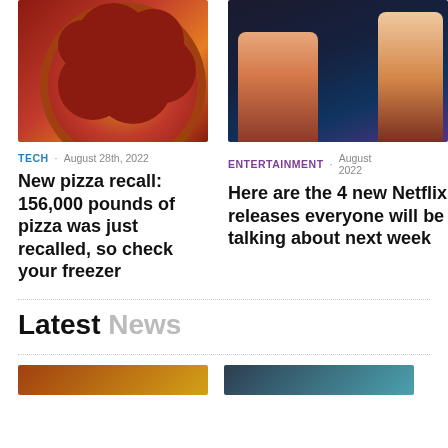[Figure (photo): Overhead shot of a large pepperoni pizza on a wooden board with a white plate on the side]
TECH · August 28th, 2022
New pizza recall: 156,000 pounds of pizza was just recalled, so check your freezer
[Figure (photo): Two people sitting outdoors at night with city lights in the background, using a phone]
ENTERTAINMENT · August 2022
Here are the 4 new Netflix releases everyone will be talking about next week
Latest News
[Figure (photo): Thumbnail image strip at bottom of page]